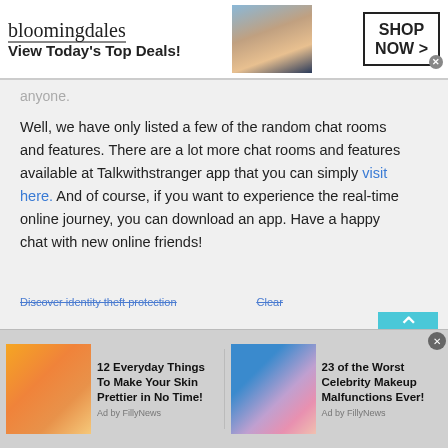[Figure (screenshot): Bloomingdale's advertisement banner: logo text, 'View Today's Top Deals!', woman with hat, and 'SHOP NOW >' button]
anyone.
Well, we have only listed a few of the random chat rooms and features. There are a lot more chat rooms and features available at Talkwithstranger app that you can simply visit here. And of course, if you want to experience the real-time online journey, you can download an app. Have a happy chat with new online friends!
Discover identity theft protection   Clear
[Figure (screenshot): Bottom ad strip with two sponsored content items: '12 Everyday Things To Make Your Skin Prettier in No Time! Ad by FillyNews' and '23 of the Worst Celebrity Makeup Malfunctions Ever! Ad by FillyNews']